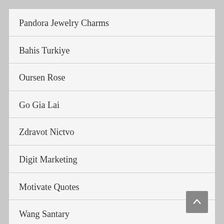Pandora Jewelry Charms
Bahis Turkiye
Oursen Rose
Go Gia Lai
Zdravot Nictvo
Digit Marketing
Motivate Quotes
Wang Santary
Xissufo Today